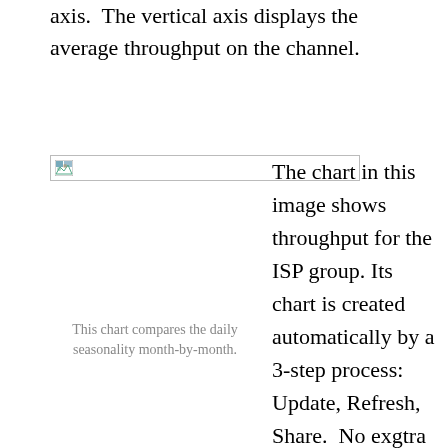axis.  The vertical axis displays the average throughput on the channel.
[Figure (other): Broken image placeholder showing a chart that compares the daily seasonality month-by-month, with caption text below.]
This chart compares the daily seasonality month-by-month.
The chart in this image shows throughput for the ISP group. Its chart is created automatically by a 3-step process: Update, Refresh, Share.  No exgtra work is required.